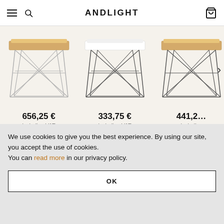ANDLIGHT
[Figure (photo): E-commerce product carousel showing three wire-base side tables. First table: light oak top with chrome wire frame, priced 656,25 €. Second table: white top with dark wire frame, priced 333,75 €. Third table (partially visible): light oak top with dark wire frame, priced 441,2x €.]
656,25 € including VAT
333,75 € including VAT
441,2x € includi...
Others also purchased
We use cookies to give you the best experience. By using our site, you accept the use of cookies. You can read more in our privacy policy.
OK